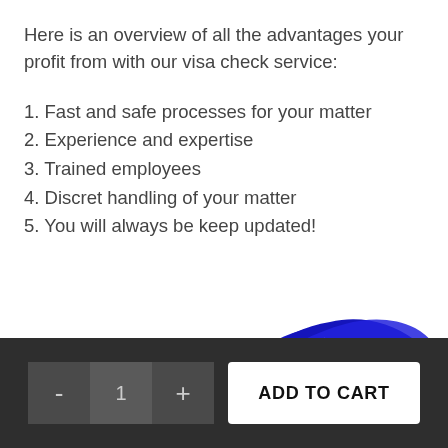Here is an overview of all the advantages your profit from with our visa check service:
1. Fast and safe processes for your matter
2. Experience and expertise
3. Trained employees
4. Discret handling of your matter
5. You will always be keep updated!
[Figure (illustration): Blue brushstroke / paint smear illustration at the bottom of the content area]
- 1 + ADD TO CART